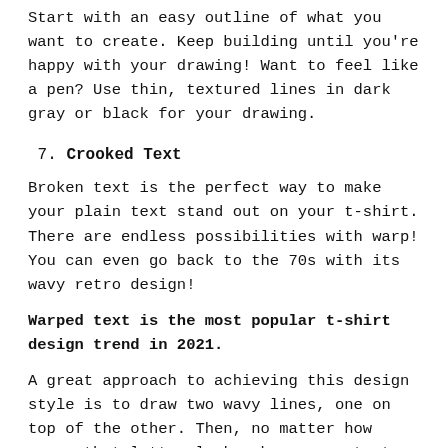Start with an easy outline of what you want to create. Keep building until you're happy with your drawing! Want to feel like a pen? Use thin, textured lines in dark gray or black for your drawing.
7. Crooked Text
Broken text is the perfect way to make your plain text stand out on your t-shirt. There are endless possibilities with warp! You can even go back to the 70s with its wavy retro design!
Warped text is the most popular t-shirt design trend in 2021.
A great approach to achieving this design style is to draw two wavy lines, one on top of the other. Then, no matter how crazy that letter looks, have your text fill the space between those two squiggles! This gives you a "warped" look. Pro tip: Block or Bubble fonts work best